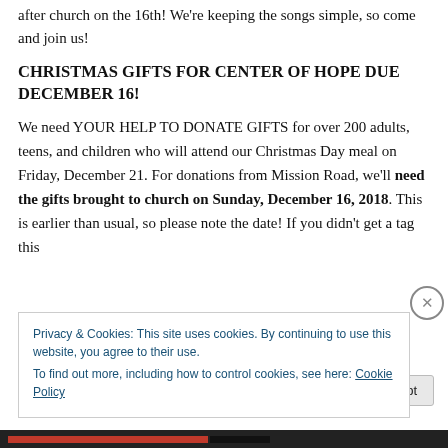after church on the 16th! We're keeping the songs simple, so come and join us!
CHRISTMAS GIFTS FOR CENTER OF HOPE DUE DECEMBER 16!
We need YOUR HELP TO DONATE GIFTS for over 200 adults, teens, and children who will attend our Christmas Day meal on Friday, December 21. For donations from Mission Road, we'll need the gifts brought to church on Sunday, December 16, 2018. This is earlier than usual, so please note the date! If you didn't get a tag this
Privacy & Cookies: This site uses cookies. By continuing to use this website, you agree to their use.
To find out more, including how to control cookies, see here: Cookie Policy
Close and accept